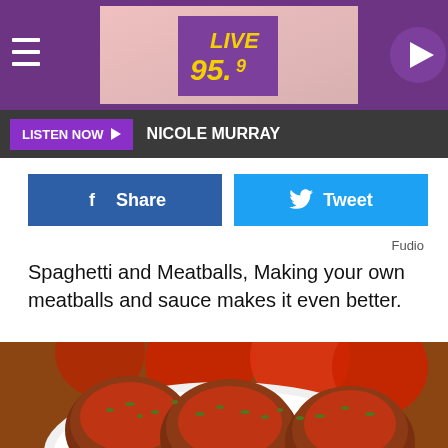[Figure (screenshot): Live 95.9 radio station purple header banner with hamburger menu, station logo, and play button]
LISTEN NOW ► NICOLE MURRAY
[Figure (other): Facebook Share button (blue) and Twitter Tweet button (light blue) side by side]
Fudio
Spaghetti and Meatballs, Making your own meatballs and sauce makes it even better.
[Figure (photo): Close-up photo of meatballs in tomato sauce garnished with herbs in a white bowl, with fresh tomatoes in background]